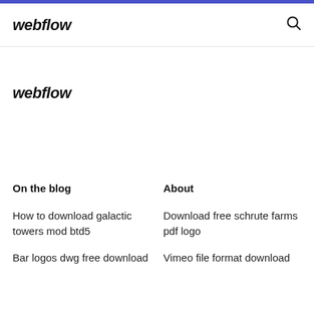webflow
[Figure (logo): webflow logo in italic bold text]
On the blog
About
How to download galactic towers mod btd5
Bar logos dwg free download
Download free schrute farms pdf logo
Vimeo file format download